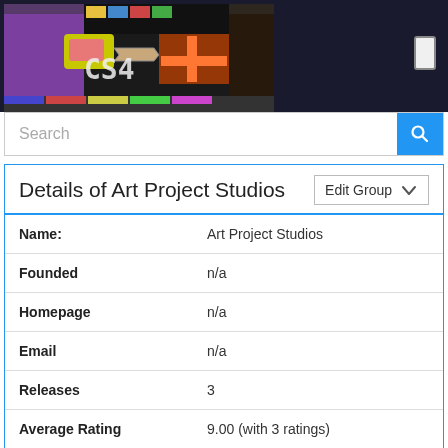[Figure (screenshot): Pixel art banner image showing colorful retro-style game graphics with purple, yellow, red, and blue tones]
Search
Details of Art Project Studios
| Field | Value |
| --- | --- |
| Name: | Art Project Studios |
| Founded | n/a |
| Homepage | n/a |
| Email | n/a |
| Releases | 3 |
| Average Rating | 9.00 (with 3 ratings) |
| Downloads | 6'699 |